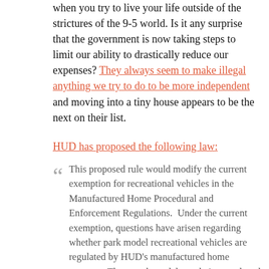when you try to live your life outside of the strictures of the 9-5 world. Is it any surprise that the government is now taking steps to limit our ability to drastically reduce our expenses? They always seem to make illegal anything we try to do to be more independent and moving into a tiny house appears to be the next on their list.
HUD has proposed the following law:
This proposed rule would modify the current exemption for recreational vehicles in the Manufactured Home Procedural and Enforcement Regulations.  Under the current exemption, questions have arisen regarding whether park model recreational vehicles are regulated by HUD's manufactured home program. These park models are being produced with patio roofs, screened in porches, and other extensions that exceed the 400...